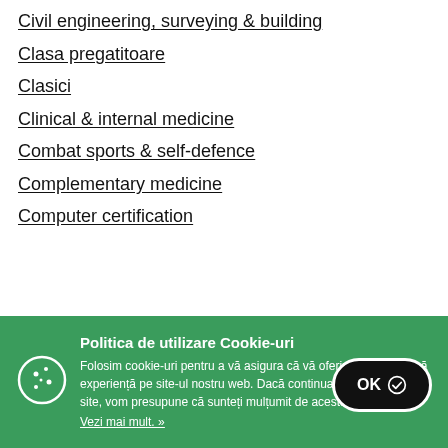Civil engineering, surveying & building
Clasa pregatitoare
Clasici
Clinical & internal medicine
Combat sports & self-defence
Complementary medicine
Computer certification
Politica de utilizare Cookie-uri
Folosim cookie-uri pentru a vă asigura că vă oferim cea mai bună experiență pe site-ul nostru web. Dacă continuați să utilizați acest site, vom presupune că sunteți mulțumit de acesta.
Vezi mai mult. »